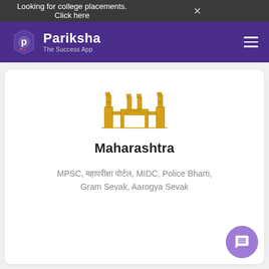Looking for college placements. Click here
[Figure (logo): Pariksha The Success App logo with purple hexagon icon and white text]
[Figure (illustration): Gateway of India / Maharashtra landmark illustration in yellow/gold outline style]
Maharashtra
MPSC, महापरीक्षा पोर्टल, MIDC, Police Bharti, Gram Sevak, Aarogya Sevak